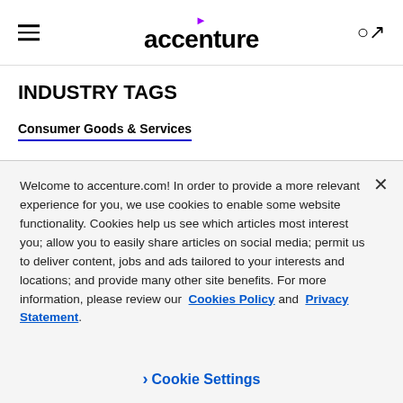accenture
INDUSTRY TAGS
Consumer Goods & Services
Welcome to accenture.com! In order to provide a more relevant experience for you, we use cookies to enable some website functionality. Cookies help us see which articles most interest you; allow you to easily share articles on social media; permit us to deliver content, jobs and ads tailored to your interests and locations; and provide many other site benefits. For more information, please review our Cookies Policy and Privacy Statement.
Cookie Settings